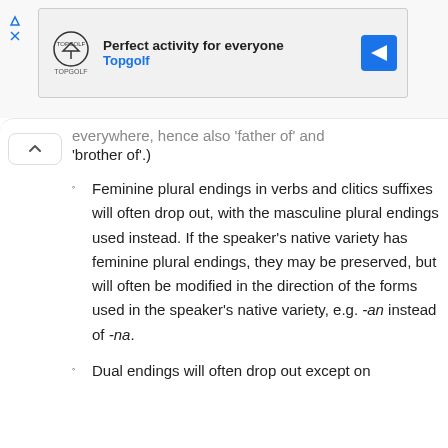[Figure (other): Advertisement banner for Topgolf: 'Perfect activity for everyone' with Topgolf logo and navigation arrow icon]
everywhere, hence also 'father of' and 'brother of'.)
Feminine plural endings in verbs and clitic suffixes will often drop out, with the masculine plural endings used instead. If the speaker's native variety has feminine plural endings, they may be preserved, but will often be modified in the direction of the forms used in the speaker's native variety, e.g. -an instead of -na.
Dual endings will often drop out except on...